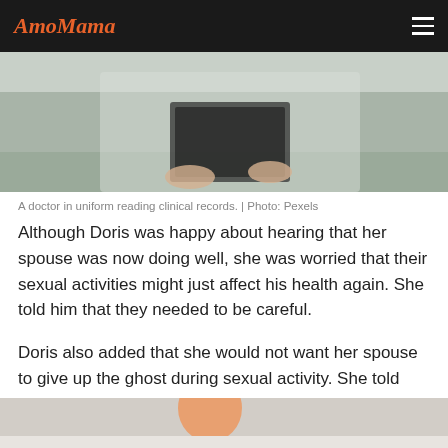AmoMama
[Figure (photo): A doctor in uniform reading clinical records, partial view showing hands holding a notebook, wearing white coat, blurred background.]
A doctor in uniform reading clinical records. | Photo: Pexels
Although Doris was happy about hearing that her spouse was now doing well, she was worried that their sexual activities might just affect his health again. She told him that they needed to be careful.
Doris also added that she would not want her spouse to give up the ghost during sexual activity. She told him that she would be more confident about it if the doctor wrote a note.
[Figure (photo): Partial view of a person's head/face, cropped at bottom of page.]